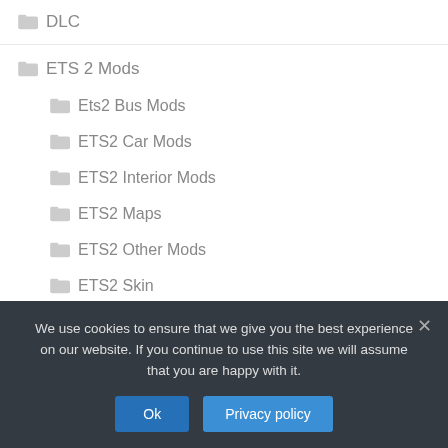DLC
ETS 2 Mods
Ets2 Bus Mods
ETS2 Car Mods
ETS2 Interior Mods
ETS2 Maps
ETS2 Other Mods
ETS2 Skin
We use cookies to ensure that we give you the best experience on our website. If you continue to use this site we will assume that you are happy with it.
Ok
Privacy policy